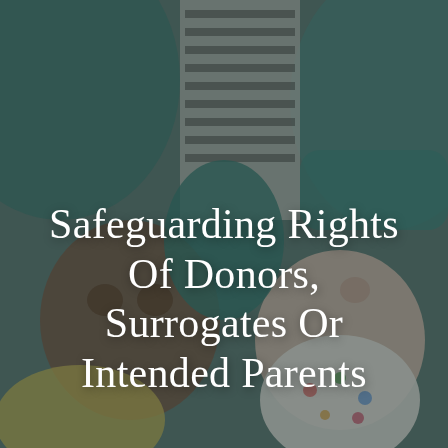[Figure (photo): Overhead view of two young children (babies/toddlers) lying down, one wearing a white polka-dot outfit and another in yellow, with adults visible around them wearing teal and striped clothing. Photo has a dark overlay.]
Safeguarding Rights Of Donors, Surrogates Or Intended Parents